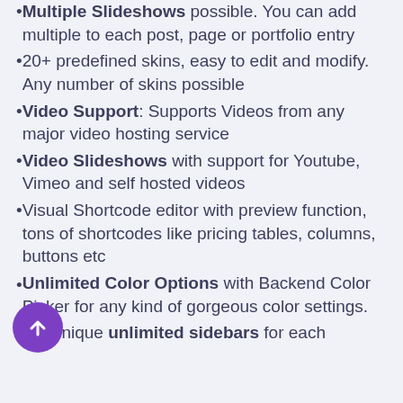Multiple Slideshows possible. You can add multiple to each post, page or portfolio entry
20+ predefined skins, easy to edit and modify. Any number of skins possible
Video Support: Supports Videos from any major video hosting service
Video Slideshows with support for Youtube, Vimeo and self hosted videos
Visual Shortcode editor with preview function, tons of shortcodes like pricing tables, columns, buttons etc
Unlimited Color Options with Backend Color Picker for any kind of gorgeous color settings.
Unique unlimited sidebars for each